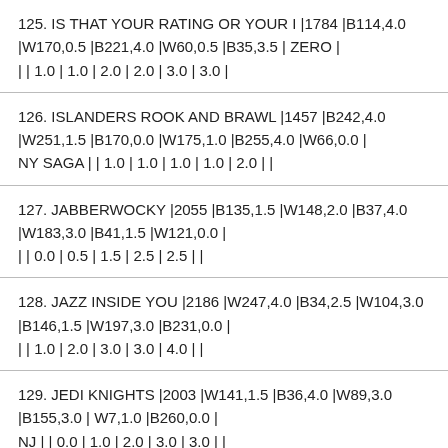125. IS THAT YOUR RATING OR YOUR I |1784 |B114,4.0 |W170,0.5 |B221,4.0 |W60,0.5 |B35,3.5 | ZERO | | | 1.0 | 1.0 | 2.0 | 2.0 | 3.0 | 3.0 |
126. ISLANDERS ROOK AND BRAWL |1457 |B242,4.0 |W251,1.5 |B170,0.0 |W175,1.0 |B255,4.0 |W66,0.0 | NY SAGA | | 1.0 | 1.0 | 1.0 | 1.0 | 2.0 | |
127. JABBERWOCKY |2055 |B135,1.5 |W148,2.0 |B37,4.0 |W183,3.0 |B41,1.5 |W121,0.0 | | | 0.0 | 0.5 | 1.5 | 2.5 | 2.5 | |
128. JAZZ INSIDE YOU |2186 |W247,4.0 |B34,2.5 |W104,3.0 |B146,1.5 |W197,3.0 |B231,0.0 | | | 1.0 | 2.0 | 3.0 | 3.0 | 4.0 | |
129. JEDI KNIGHTS |2003 |W141,1.5 |B36,4.0 |W89,3.0 |B155,3.0 | W7,1.0 |B260,0.0 | NJ | | 0.0 | 1.0 | 2.0 | 3.0 | 3.0 | |
130. JENNER GAMBIT: KING TO QUEE |2153 |B33,2.5